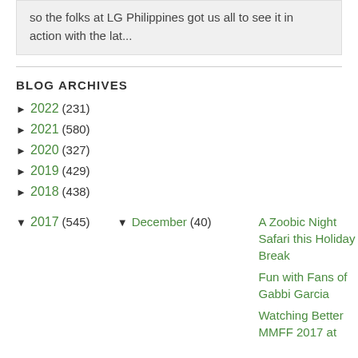so the folks at LG Philippines got us all to see it in action with the lat...
BLOG ARCHIVES
► 2022 (231)
► 2021 (580)
► 2020 (327)
► 2019 (429)
► 2018 (438)
▼ 2017 (545)
▼ December (40)
A Zoobic Night Safari this Holiday Break
Fun with Fans of Gabbi Garcia
Watching Better MMFF 2017 at